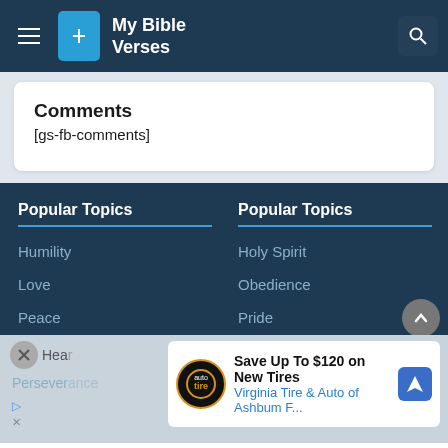My Bible Verses
Comments
[gs-fb-comments]
Popular Topics
Humility
Love
Peace
Popular Topics
Holy Spirit
Obedience
Pride
Save Up To $120 on New Tires Virginia Tire & Auto of Ashbum F...